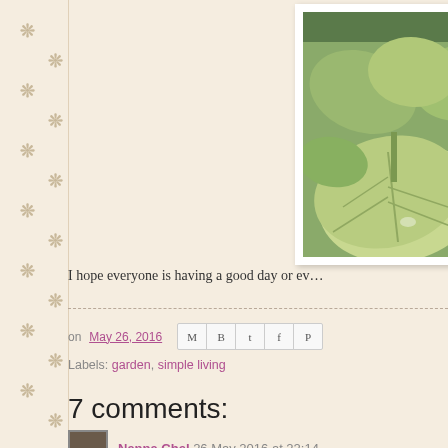[Figure (photo): Garden photo showing green leafy plants including what appears to be zucchini or similar broad-leafed vegetables, with an orange pot visible in the background]
I hope everyone is having a good day or ev…
on May 26, 2016
Labels: garden, simple living
7 comments:
Nanna Chel, 26 May 2016 at 22:14